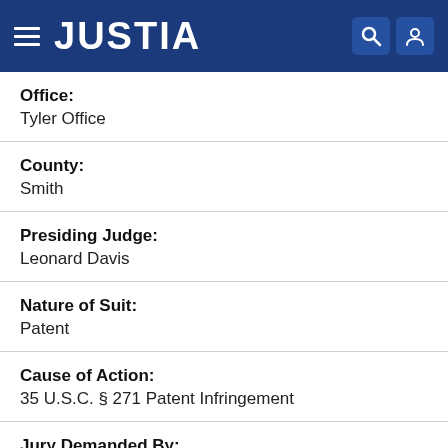JUSTIA
| Field | Value |
| --- | --- |
| Office: | Tyler Office |
| County: | Smith |
| Presiding Judge: | Leonard Davis |
| Nature of Suit: | Patent |
| Cause of Action: | 35 U.S.C. § 271 Patent Infringement |
| Jury Demanded By: | Both |